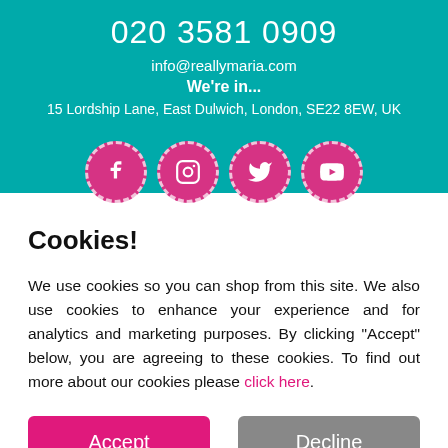020 3581 0909
info@reallymaria.com
We're in...
15 Lordship Lane, East Dulwich, London, SE22 8EW, UK
[Figure (illustration): Four pink circular social media icons: Facebook, Instagram, Twitter, YouTube]
Cookies!
We use cookies so you can shop from this site. We also use cookies to enhance your experience and for analytics and marketing purposes. By clicking "Accept" below, you are agreeing to these cookies. To find out more about our cookies please click here.
Accept
Decline